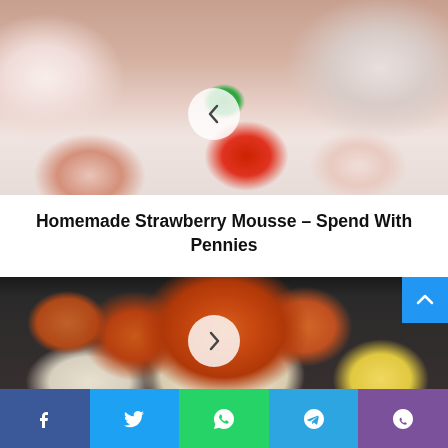[Figure (photo): Close-up photo of strawberry mousse desserts in clear glasses garnished with fresh strawberries and mint leaves, with a left navigation arrow button overlay]
Homemade Strawberry Mousse - Spend With Pennies
[Figure (photo): Close-up photo of shrimp and grits in a cast iron skillet with lemon slices, with a right navigation arrow button overlay]
Facebook Twitter WhatsApp Telegram Viber social share buttons